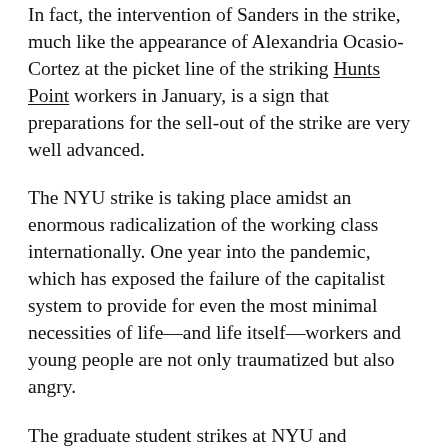In fact, the intervention of Sanders in the strike, much like the appearance of Alexandria Ocasio-Cortez at the picket line of the striking Hunts Point workers in January, is a sign that preparations for the sell-out of the strike are very well advanced.
The NYU strike is taking place amidst an enormous radicalization of the working class internationally. One year into the pandemic, which has exposed the failure of the capitalist system to provide for even the most minimal necessities of life—and life itself—workers and young people are not only traumatized but also angry.
The graduate student strikes at NYU and Columbia are part of a much broader upsurge of struggles of the working class and a turn to the left by broad sections of the population. In the US, this found an expression most recently in the response to the exposure of the WSWS and SEP of Alexandria Ocasio-Cortez's right-wing political